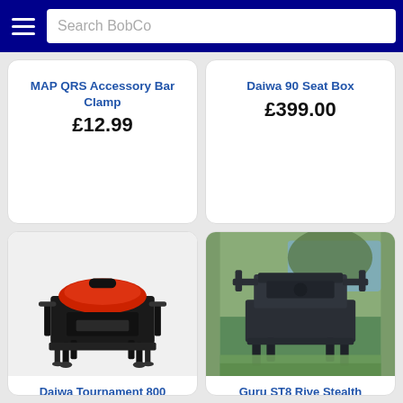Search BobCo
MAP QRS Accessory Bar Clamp
£12.99
Daiwa 90 Seat Box
£399.00
[Figure (photo): Daiwa Tournament 800 fishing seat box with red lid and black frame on white background]
Daiwa Tournament 800
[Figure (photo): Guru ST8 Rive Stealth dark grey seat box frame on grass near water]
Guru ST8 Rive Stealth